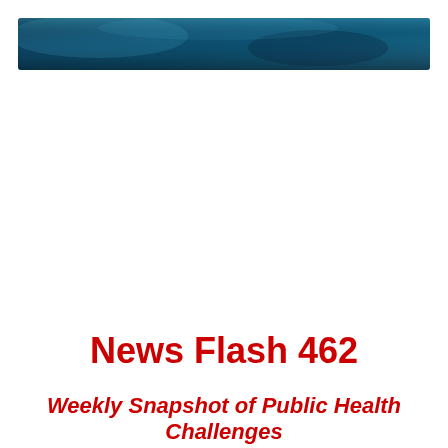[Figure (photo): Dark blue banner/header image with blurred background, gradient from dark navy to lighter blue tones]
News Flash 462
Weekly Snapshot of Public Health Challenges